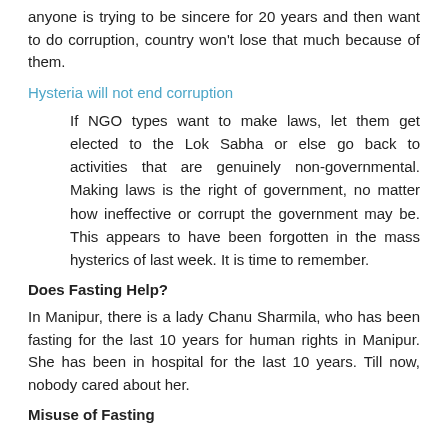anyone is trying to be sincere for 20 years and then want to do corruption, country won't lose that much because of them.
Hysteria will not end corruption
If NGO types want to make laws, let them get elected to the Lok Sabha or else go back to activities that are genuinely non-governmental. Making laws is the right of government, no matter how ineffective or corrupt the government may be. This appears to have been forgotten in the mass hysterics of last week. It is time to remember.
Does Fasting Help?
In Manipur, there is a lady Chanu Sharmila, who has been fasting for the last 10 years for human rights in Manipur. She has been in hospital for the last 10 years. Till now, nobody cared about her.
Misuse of Fasting